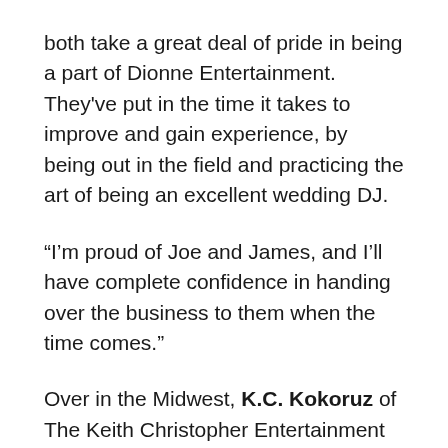both take a great deal of pride in being a part of Dionne Entertainment. They've put in the time it takes to improve and gain experience, by being out in the field and practicing the art of being an excellent wedding DJ.
“I’m proud of Joe and James, and I’ll have complete confidence in handing over the business to them when the time comes.”
Over in the Midwest, K.C. Kokoruz of The Keith Christopher Entertainment Group in Chicago has been helping his 15-year-old nephew Will get started in the mobile DJ business. So far, he says Will is in love with the thought